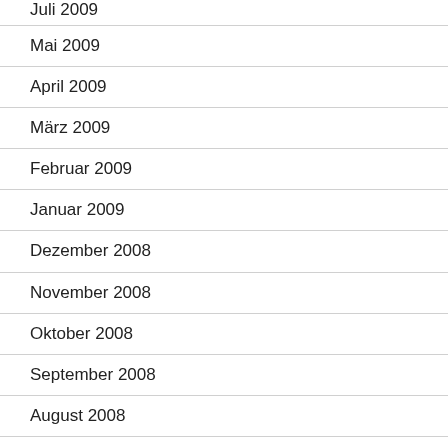Juli 2009
Mai 2009
April 2009
März 2009
Februar 2009
Januar 2009
Dezember 2008
November 2008
Oktober 2008
September 2008
August 2008
Juli 2008